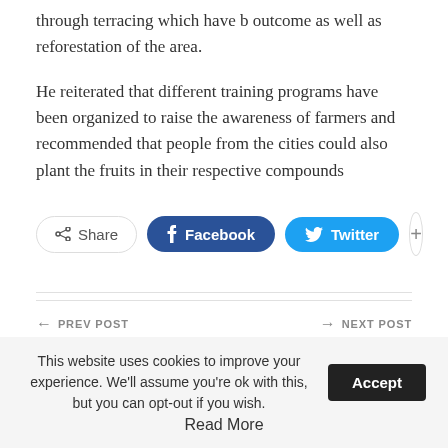through terracing which have b outcome as well as reforestation of the area.
He reiterated that different training programs have been organized to raise the awareness of farmers and recommended that people from the cities could also plant the fruits in their respective compounds
Share | Facebook | Twitter | +
← PREV POST
Southern Red Sea region
NEXT POST →
Farmers of Golij say that
This website uses cookies to improve your experience. We'll assume you're ok with this, but you can opt-out if you wish. Accept
Read More